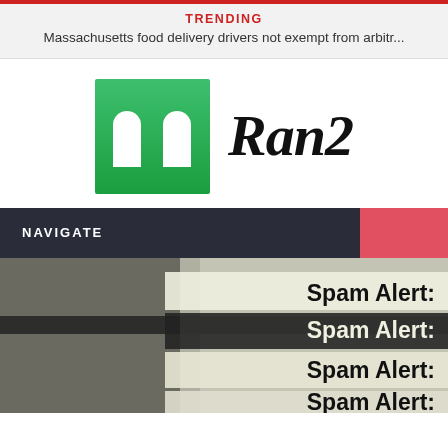TRENDING
Massachusetts food delivery drivers not exempt from arbitr...
[Figure (logo): Ran2 logo: green square icon with two white arch shapes, next to 'Ran2' in black cursive/script font]
NAVIGATE
[Figure (photo): Close-up photo of email inbox showing multiple 'Spam Alert:' entries in bold text on screen]